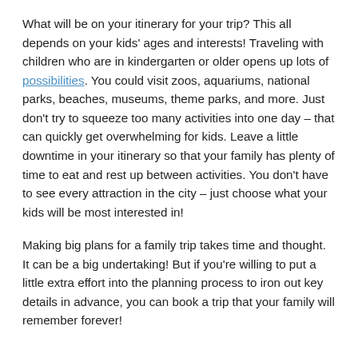What will be on your itinerary for your trip? This all depends on your kids' ages and interests! Traveling with children who are in kindergarten or older opens up lots of possibilities. You could visit zoos, aquariums, national parks, beaches, museums, theme parks, and more. Just don't try to squeeze too many activities into one day – that can quickly get overwhelming for kids. Leave a little downtime in your itinerary so that your family has plenty of time to eat and rest up between activities. You don't have to see every attraction in the city – just choose what your kids will be most interested in!
Making big plans for a family trip takes time and thought. It can be a big undertaking! But if you're willing to put a little extra effort into the planning process to iron out key details in advance, you can book a trip that your family will remember forever!